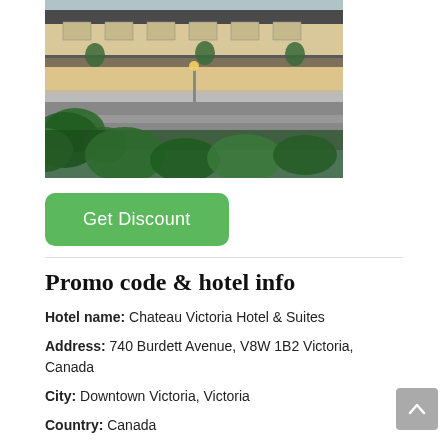[Figure (photo): Exterior photo of Chateau Victoria Hotel & Suites showing a modern hotel building with greenery in the foreground and warm lighting]
Get Discount
Promo code & hotel info
Hotel name: Chateau Victoria Hotel & Suites
Address: 740 Burdett Avenue, V8W 1B2 Victoria, Canada
City: Downtown Victoria, Victoria
Country: Canada